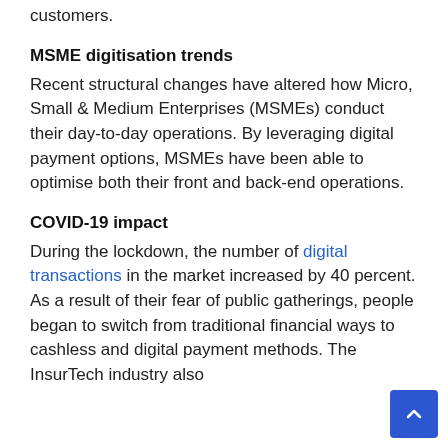customers.
MSME digitisation trends
Recent structural changes have altered how Micro, Small & Medium Enterprises (MSMEs) conduct their day-to-day operations. By leveraging digital payment options, MSMEs have been able to optimise both their front and back-end operations.
COVID-19 impact
During the lockdown, the number of digital transactions in the market increased by 40 percent. As a result of their fear of public gatherings, people began to switch from traditional financial ways to cashless and digital payment methods. The InsurTech industry also